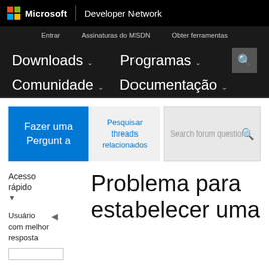Microsoft | Developer Network
Entrar   Assinaturas do MSDN   Obter ferramentas
Downloads  Programas  Comunidade  Documentação
[Figure (screenshot): Forum action buttons: 'Fazer uma Pergunta' (blue), 'Pesquisar threads relacionados' (gray), and a 'Search forum questions' input box]
Acesso rápido
Usuário com melhor resposta
Problema para estabelecer uma